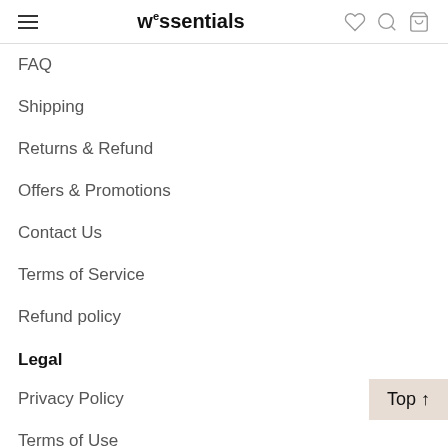we2ssentials
FAQ
Shipping
Returns & Refund
Offers & Promotions
Contact Us
Terms of Service
Refund policy
Legal
Privacy Policy
Terms of Use
CPPA OPT Out